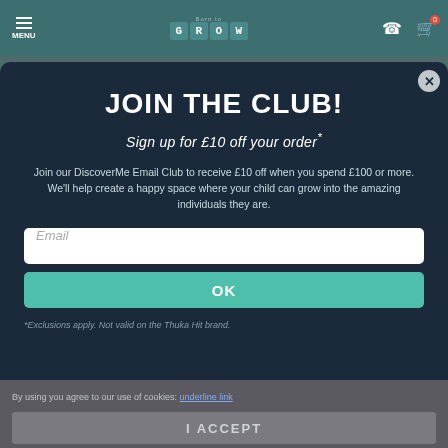MENU | Born to GROW | phone icon | cart 0
JOIN THE CLUB!
Sign up for £10 off your order*
Join our DiscoverMe Email Club to receive £10 off when you spend £100 or more. We'll help create a happy space where your child can grow into the amazing individuals they are.
Email
OK
*Exclusions apply. Not valid on the Thuka Hit brand.
By using you agree to our use of cookies:
I ACCEPT